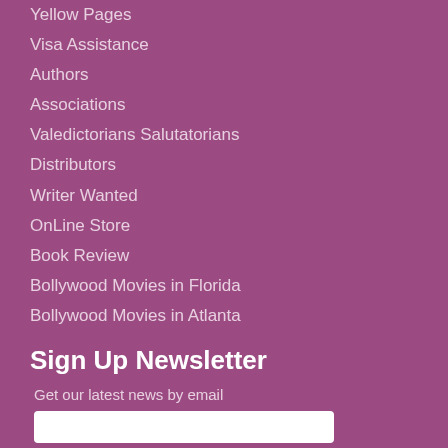Yellow Pages
Visa Assistance
Authors
Associations
Valedictorians Salutatorians
Distributors
Writer Wanted
OnLine Store
Book Review
Bollywood Movies in Florida
Bollywood Movies in Atlanta
Sign Up Newsletter
Get our latest news by email
Hindu Resources
Hindu Cremation